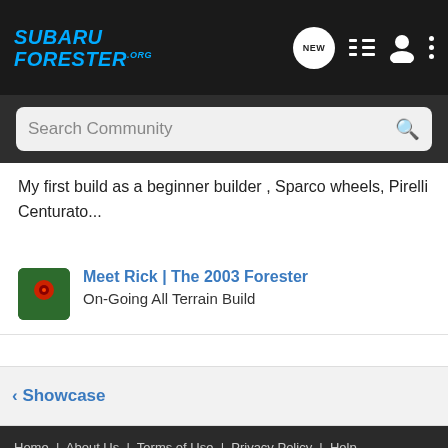SUBARU FORESTER.ORG
Search Community
My first build as a beginner builder , Sparco wheels, Pirelli Centurato...
Meet Rick | The 2003 Forester
On-Going All Terrain Build
< Showcase
Home | About Us | Terms of Use | Privacy Policy | Help | Business Directory | Contact Us | Grow Your Business NEW
VerticalScope Inc., 111 Peter Street, Suite 600, Toronto, Ontario, M5V 2H1, Canada